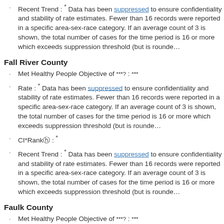Recent Trend : * Data has been suppressed to ensure confidentiality and stability of rate estimates. Fewer than 16 records were reported in a specific area-sex-race category. If an average count of 3 is shown, the total number of cases for the time period is 16 or more which exceeds suppression threshold (but is rounded to 3).
Fall River County
Met Healthy People Objective of ***?: ***
Rate : * Data has been suppressed to ensure confidentiality and stability of rate estimates. Fewer than 16 records were reported in a specific area-sex-race category. If an average count of 3 is shown, the total number of cases for the time period is 16 or more which exceeds suppression threshold (but is rounded to 3).
CI*Rankⓗ : *
Recent Trend : * Data has been suppressed to ensure confidentiality and stability of rate estimates. Fewer than 16 records were reported in a specific area-sex-race category. If an average count of 3 is shown, the total number of cases for the time period is 16 or more which exceeds suppression threshold (but is rounded to 3).
Faulk County
Met Healthy People Objective of ***?: ***
Rate : * Data has been suppressed to ensure confidentiality and stability of rate estimates. Fewer than 16 records were reported in a specific area-sex-race category. If an average count of 3 is shown, the total number of cases for the time period is 16 or more which exceeds suppression threshold (but is rounded to 3).
CI*Rankⓗ : *
Recent Trend : * Data has been suppressed to ensure confidentiality and stability of rate estimates. Fewer than 16 records were reported in a specific area-sex-race category. If an average count of 3 is shown, the total number of cases for the time period is 16 or more which exceeds suppression threshold (but is rounded to 3).